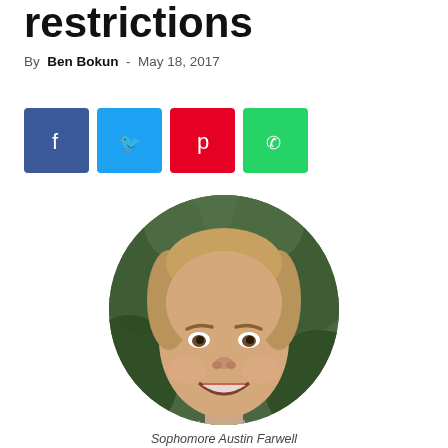restrictions
By Ben Bokun - May 18, 2017
[Figure (other): Social share buttons: Facebook (blue), Twitter (light blue), Pinterest (red), WhatsApp (green)]
[Figure (photo): Circular portrait photo of a smiling young man with blonde hair wearing a light blue striped shirt, outdoor background with greenery]
Sophomore Austin Farwell